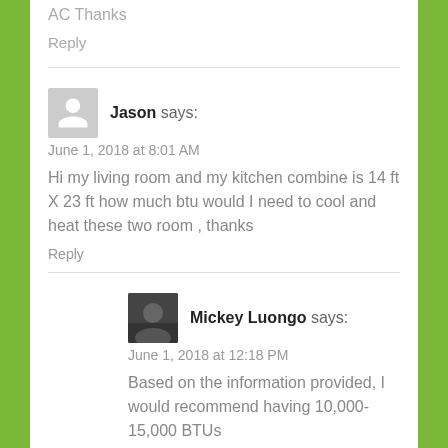AC Thanks
Reply
Jason says:
June 1, 2018 at 8:01 AM
Hi my living room and my kitchen combine is 14 ft X 23 ft how much btu would I need to cool and heat these two room , thanks
Reply
Mickey Luongo says:
June 1, 2018 at 12:18 PM
Based on the information provided, I would recommend having 10,000-15,000 BTUs